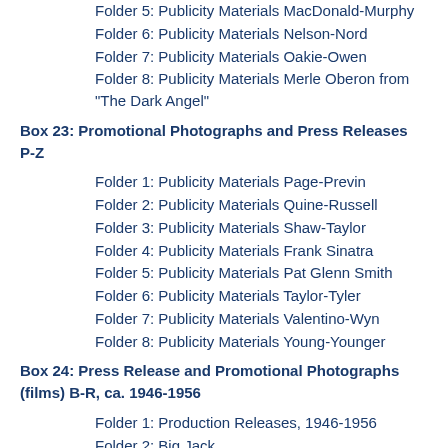Folder 5: Publicity Materials MacDonald-Murphy
Folder 6: Publicity Materials Nelson-Nord
Folder 7: Publicity Materials Oakie-Owen
Folder 8: Publicity Materials Merle Oberon from "The Dark Angel"
Box 23: Promotional Photographs and Press Releases P-Z
Folder 1: Publicity Materials Page-Previn
Folder 2: Publicity Materials Quine-Russell
Folder 3: Publicity Materials Shaw-Taylor
Folder 4: Publicity Materials Frank Sinatra
Folder 5: Publicity Materials Pat Glenn Smith
Folder 6: Publicity Materials Taylor-Tyler
Folder 7: Publicity Materials Valentino-Wyn
Folder 8: Publicity Materials Young-Younger
Box 24: Press Release and Promotional Photographs (films) B-R, ca. 1946-1956
Folder 1: Production Releases, 1946-1956
Folder 2: Big Jack
Folder 3: Brewster's Millions
Folder 4: Cheatin' Woman Blues
Folder 5: The Eddie Cantor Story